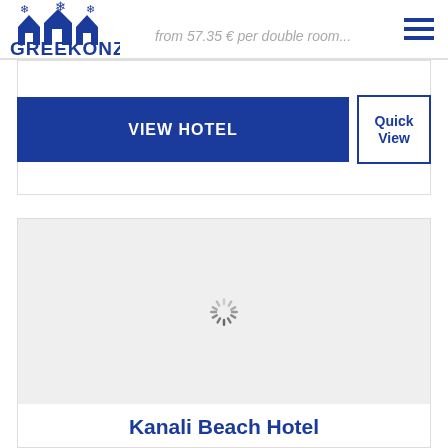GREEKONZA — from 57.35 € per double room
VIEW HOTEL
Quick View
[Figure (photo): Loading spinner / placeholder for hotel image]
Kanali Beach Hotel
Category 3*